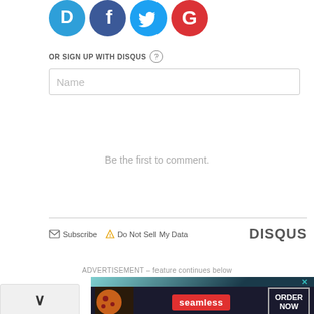[Figure (screenshot): Social login icons for Disqus (D), Facebook (f), Twitter bird, and Google (G) in colored circles]
OR SIGN UP WITH DISQUS ?
[Figure (screenshot): Name input field with placeholder text 'Name']
Be the first to comment.
Subscribe  Do Not Sell My Data  DISQUS
ADVERTISEMENT – feature continues below
[Figure (screenshot): Patheos newsletter signup ad with teal-to-dark gradient, text 'Sign up for Newsletters from Patheos today!' and GET STARTED button]
[Figure (screenshot): Seamless food ordering ad with pizza image on dark background, Seamless logo in red, ORDER NOW button]